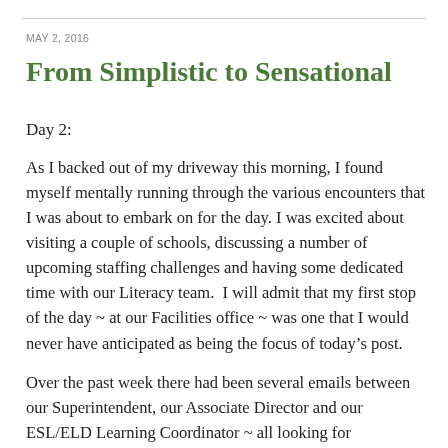MAY 2, 2016
From Simplistic to Sensational
Day 2:
As I backed out of my driveway this morning, I found myself mentally running through the various encounters that I was about to embark on for the day. I was excited about visiting a couple of schools, discussing a number of upcoming staffing challenges and having some dedicated time with our Literacy team.  I will admit that my first stop of the day ~ at our Facilities office ~ was one that I would never have anticipated as being the focus of today's post.
Over the past week there had been several emails between our Superintendent, our Associate Director and our ESL/ELD Learning Coordinator ~ all looking for clarification on Secondary